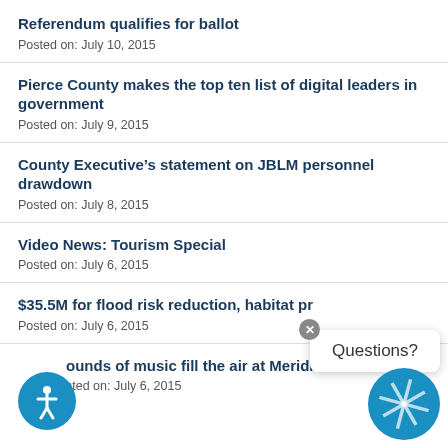Referendum qualifies for ballot
Posted on: July 10, 2015
Pierce County makes the top ten list of digital leaders in government
Posted on: July 9, 2015
County Executive’s statement on JBLM personnel drawdown
Posted on: July 8, 2015
Video News: Tourism Special
Posted on: July 6, 2015
$35.5M for flood risk reduction, habitat pr…
Posted on: July 6, 2015
Sounds of music fill the air at Meridian Habitat Pa…
Posted on: July 6, 2015